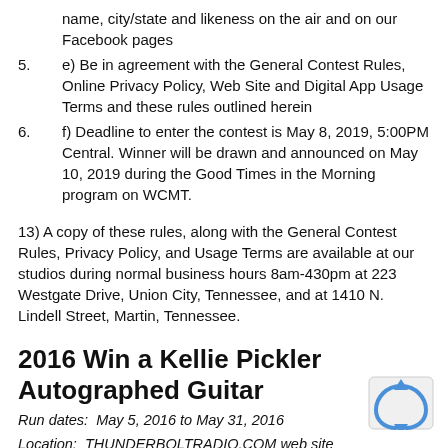name, city/state and likeness on the air and on our Facebook pages
5. e) Be in agreement with the General Contest Rules, Online Privacy Policy, Web Site and Digital App Usage Terms and these rules outlined herein
6. f) Deadline to enter the contest is May 8, 2019, 5:00PM Central. Winner will be drawn and announced on May 10, 2019 during the Good Times in the Morning program on WCMT.
13) A copy of these rules, along with the General Contest Rules, Privacy Policy, and Usage Terms are available at our studios during normal business hours 8am-430pm at 223 Westgate Drive, Union City, Tennessee, and at 1410 N. Lindell Street, Martin, Tennessee.
2016 Win a Kellie Pickler Autographed Guitar
Run dates:  May 5, 2016 to May 31, 2016
Location:  THUNDERBOLTRADIO.COM web site